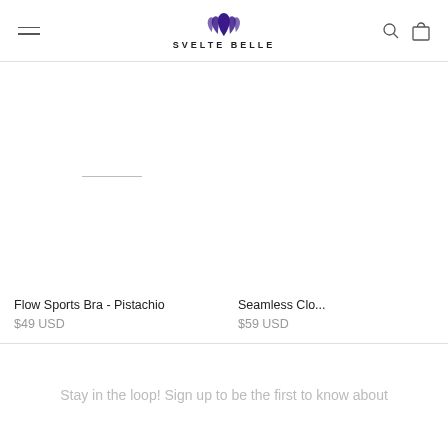SVELTE BELLE
[Figure (other): Empty product image area with horizontal divider line for Flow Sports Bra - Pistachio]
Flow Sports Bra - Pistachio
$49 USD
[Figure (other): Partially visible product image area for Seamless Clo... product]
Seamless Clo...
$59 USD
Stay in the loop! Sign up to be the first to know about